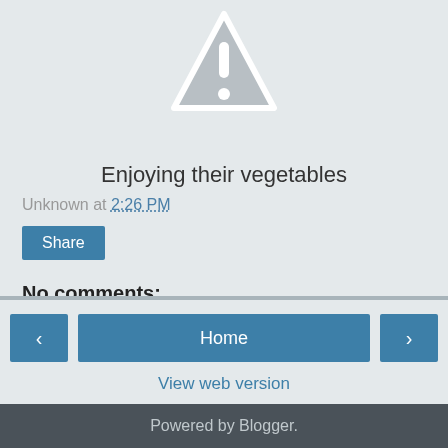[Figure (illustration): Warning triangle icon with exclamation mark, gray with white border, partially cropped at top]
Enjoying their vegetables
Unknown at 2:26 PM
Share
No comments:
Post a Comment
Home
View web version
Powered by Blogger.